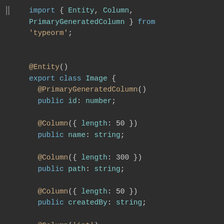[Figure (screenshot): Code editor screenshot showing TypeORM entity class definition in TypeScript. Code includes import statement for Entity, Column, PrimaryGeneratedColumn from 'typeorm'; @Entity() decorator; export class Image with @PrimaryGeneratedColumn() public id: number; @Column({ length: 50 }) public name: string; @Column({ length: 300 }) public path: string; @Column({ length: 50 }) public createdBy: string; @Column('int') public createdAt: number;]